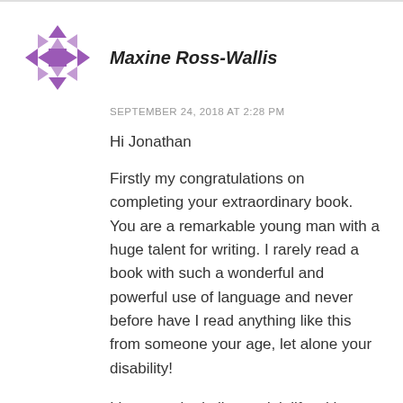[Figure (logo): Purple geometric star/snowflake avatar logo made of triangular shapes arranged in a circular pattern]
Maxine Ross-Wallis
SEPTEMBER 24, 2018 AT 2:28 PM
Hi Jonathan
Firstly my congratulations on completing your extraordinary book. You are a remarkable young man with a huge talent for writing. I rarely read a book with such a wonderful and powerful use of language and never before have I read anything like this from someone your age, let alone your disability!
I have worked all my adult life with children and young people who have complex needs. I run a